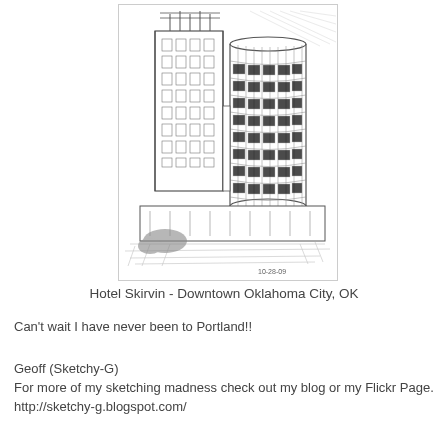[Figure (illustration): Pencil sketch of Hotel Skirvin building in Downtown Oklahoma City, OK. Shows a cylindrical tower and adjacent rectangular building with crosshatching and architectural detail. Dated 10-28-09 in lower right corner.]
Hotel Skirvin - Downtown Oklahoma City, OK
Can't wait I have never been to Portland!!
Geoff (Sketchy-G)
For more of my sketching madness check out my blog or my Flickr Page.
http://sketchy-g.blogspot.com/